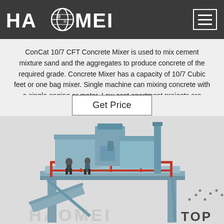HAOMEI (logo with globe icon and hamburger menu)
ConCat 10/7 CFT Concrete Mixer is used to mix cement mixture sand and the aggregates to produce concrete of the required grade. Concrete Mixer has a capacity of 10/7 Cubic feet or one bag mixer. Single machine can mixing concrete with a single engine or motor. Low cost apartment projects are highly benefited by this type of concrete mixer.
[Figure (other): Get Price button — white rectangle with border and text]
[Figure (photo): Large industrial concrete batching plant / mixer machine shown from below at an angle, painted in blue-grey with red scaffolding rails, two workers visible on the platform, against a light grey sky background. TOP badge with dotted arc appears in lower right.]